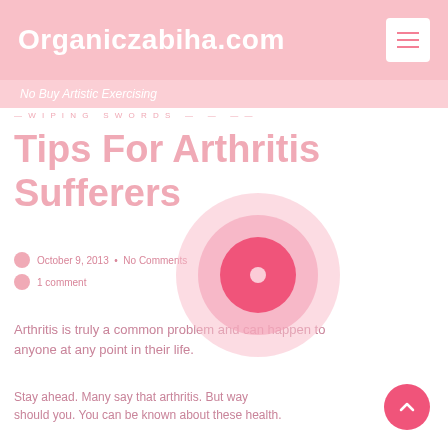Organiczabiha.com
No Buy Artistic Exercising
— w i p i n g   s w o r d s   —
Tips For Arthritis Sufferers
[Figure (illustration): Pink concentric circles target decoration overlapping the article title]
October 9, 2013  •  No Comments
1 comment
Arthritis is truly a common problem and can happen to anyone at any point in their life.
Stay ahead. Many say that arthritis. But way should you. You can be known about these health.